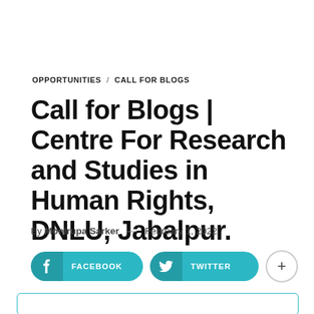OPPORTUNITIES / CALL FOR BLOGS
Call for Blogs | Centre For Research and Studies in Human Rights, DNLU, Jabalpur.
By Monirupa Sarker — February 1, 2022
[Figure (infographic): Social sharing buttons: Facebook and Twitter (teal rounded pill buttons), plus a '+' more button]
[Figure (other): Bottom teal-bordered box (partial, cut off at page bottom)]